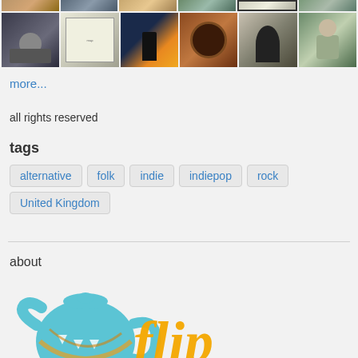[Figure (photo): Top row of thumbnail photos partially visible]
[Figure (photo): Second row of six thumbnail photos: person portrait, map/diagram, silhouette against sky, brown tube/horn, shadow silhouette, man outdoors]
more...
all rights reserved
tags
alternative  folk  indie  indiepop  rock  United Kingdom
about
[Figure (logo): Flipboard-style logo: blue teapot with orange script text 'flip']